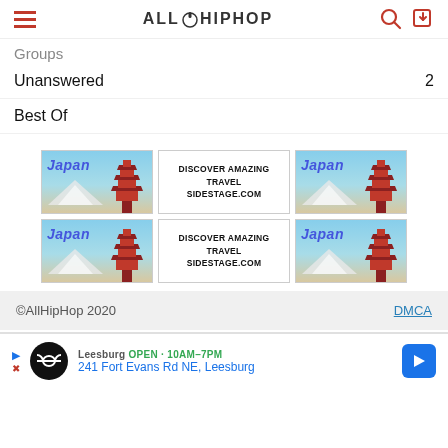AllHipHop
Groups
Unanswered 2
Best Of
[Figure (infographic): Two rows of travel advertisement banners showing Japan imagery with text DISCOVER AMAZING TRAVEL SIDESTAGE.COM]
©AllHipHop 2020   DMCA
[Figure (infographic): Bottom advertisement showing an infinity logo, Leesburg store info: 241 Fort Evans Rd NE, Leesburg, with a navigation arrow icon]